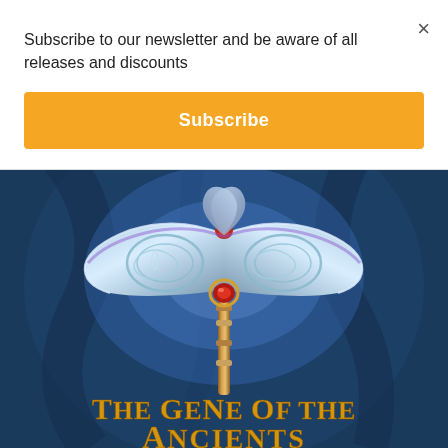Subscribe to our newsletter and be aware of all releases and discounts
Subscribe
[Figure (illustration): Book cover for 'The Gene of the Ancients' featuring a glowing fantasy double-headed battle axe with Celtic knotwork patterns against a dark blue background, with gold title text at the bottom reading 'THE GENE OF THE ANCIENTS']
×